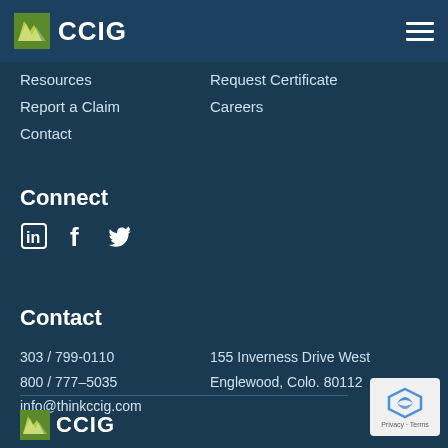CCIG
Resources
Request Certificate
Report a Claim
Careers
Contact
Connect
[Figure (illustration): Social media icons: LinkedIn (in), Facebook (f), Twitter (bird icon)]
Contact
303 / 799-0110
800 / 777–5035
info@thinkccig.com
155 Inverness Drive West
Englewood, Colo. 80112
[Figure (logo): CCIG logo at bottom of page]